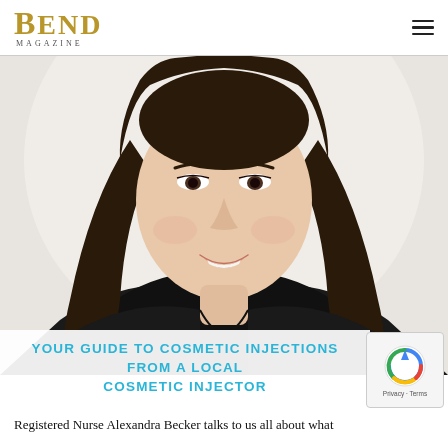BEND Magazine
[Figure (photo): Professional headshot of a young woman with long dark hair, smiling, wearing a black top, against a light background.]
YOUR GUIDE TO COSMETIC INJECTIONS FROM A LOCAL COSMETIC INJECTOR
Registered Nurse Alexandra Becker talks to us all about what